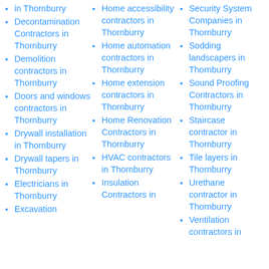in Thornburry
Decontamination Contractors in Thornburry
Demolition contractors in Thornburry
Doors and windows contractors in Thornburry
Drywall installation in Thornburry
Drywall tapers in Thornburry
Electricians in Thornburry
Excavation
Home accessibility contractors in Thornburry
Home automation contractors in Thornburry
Home extension contractors in Thornburry
Home Renovation Contractors in Thornburry
HVAC contractors in Thornburry
Insulation Contractors in
Security System Companies in Thornburry
Sodding landscapers in Thornburry
Sound Proofing Contractors in Thornburry
Staircase contractor in Thornburry
Tile layers in Thornburry
Urethane contractor in Thornburry
Ventilation contractors in